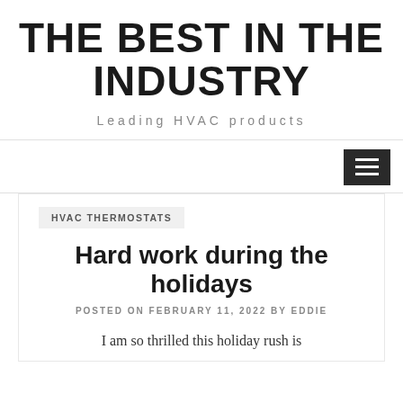THE BEST IN THE INDUSTRY
Leading HVAC products
[Figure (other): Hamburger menu button (three horizontal white lines on dark background)]
HVAC THERMOSTATS
Hard work during the holidays
POSTED ON FEBRUARY 11, 2022 BY EDDIE
I am so thrilled this holiday rush is